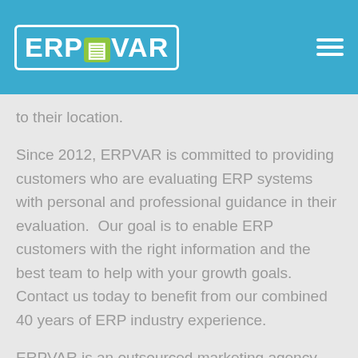ERPVAR logo and navigation
to their location.
Since 2012, ERPVAR is committed to providing customers who are evaluating ERP systems with personal and professional guidance in their evaluation.  Our goal is to enable ERP customers with the right information and the best team to help with your growth goals. Contact us today to benefit from our combined 40 years of ERP industry experience.
ERPVAR is an outsourced marketing agency 100% dedicated to serving the ERP industry. We help our exclusive group of ERP VARs and ISVs to generate inbound leads with custom campaigns. As certified HubSpot partners, we implement, support and train our HubSpot clients as part of their marketing team. Our